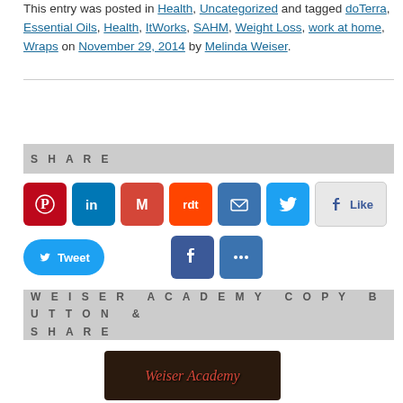This entry was posted in Health, Uncategorized and tagged doTerra, Essential Oils, Health, ItWorks, SAHM, Weight Loss, work at home, Wraps on November 29, 2014 by Melinda Weiser.
SHARE
[Figure (infographic): Row of social sharing icons: Pinterest, LinkedIn, Gmail, Reddit, Email, Twitter, Facebook Like button; second row: Tweet button, Facebook, More]
WEISER ACADEMY COPY BUTTON & SHARE
[Figure (photo): Weiser Academy banner image with red script text on dark background]